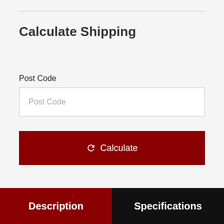Calculate Shipping
Post Code
Post Code
Calculate
Description
Specifications